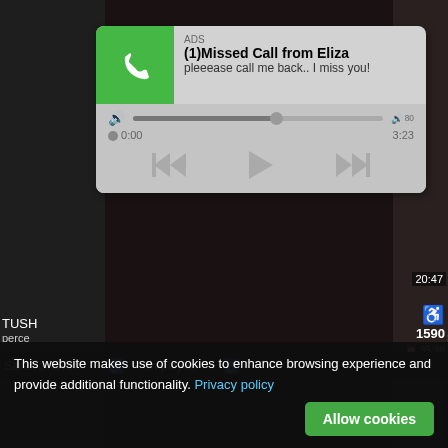[Figure (screenshot): Fake missed call notification ad styled as WhatsApp notification. Shows green phone icon, 'ADS' label, title '(1)Missed Call from Eliza', subtitle 'pleeease call me back.. I miss you!', audio player with progress bar, rewind/play/fastforward controls, timestamps 0:00 and 3:23.]
[Figure (screenshot): Adult content advertisement panel with black background. Header 'WHAT DO YOU WANT?' with pink/magenta WATCH button, red Online indicator dot, three blurred thumbnail images, text 'Cumming, ass fucking, squirt or...' and '• ADS' label.]
This website makes use of cookies to enhance browsing experience and provide additional functionality. Privacy policy
Allow cookies